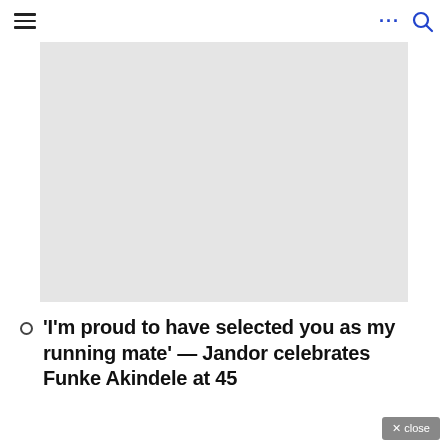≡ ... 🔍
[Figure (photo): Large light gray placeholder image area for a photo]
'I'm proud to have selected you as my running mate' — Jandor celebrates Funke Akindele at 45